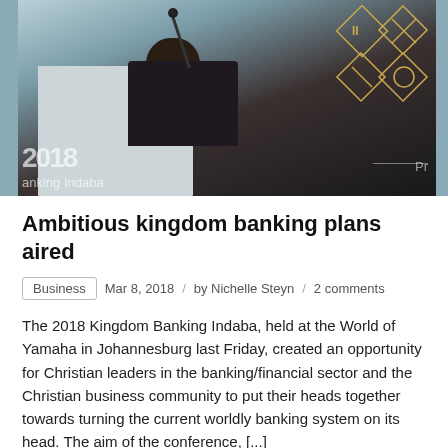[Figure (photo): A woman speaking at a podium at the 2018 Kingdom Banking Indaba event in Johannesburg. The '2018 Banking Indaba' branding is visible on the podium and background.]
Ambitious kingdom banking plans aired
Business  Mar 8, 2018 / by Nichelle Steyn / 2 comments
The 2018 Kingdom Banking Indaba, held at the World of Yamaha in Johannesburg last Friday, created an opportunity for Christian leaders in the banking/financial sector and the Christian business community to put their heads together towards turning the current worldly banking system on its head. The aim of the conference, [...]